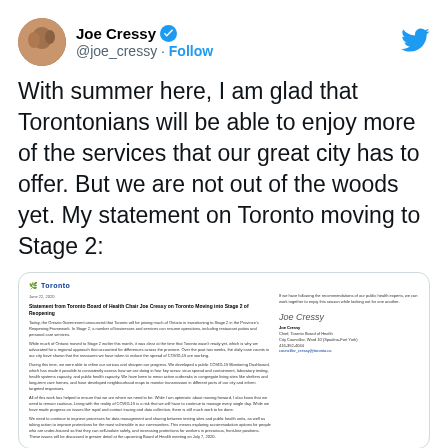[Figure (screenshot): Tweet by Joe Cressy (@joe_cressy) with verified badge and Follow button, Twitter bird logo in top right, large tweet text about Toronto moving to Stage 2, embedded image of official Toronto Board of Health statement letter, and timestamp 5:49 PM · Jun 22, 2020]
With summer here, I am glad that Torontonians will be able to enjoy more of the services that our great city has to offer. But we are not out of the woods yet. My statement on Toronto moving to Stage 2:
5:49 PM · Jun 22, 2020